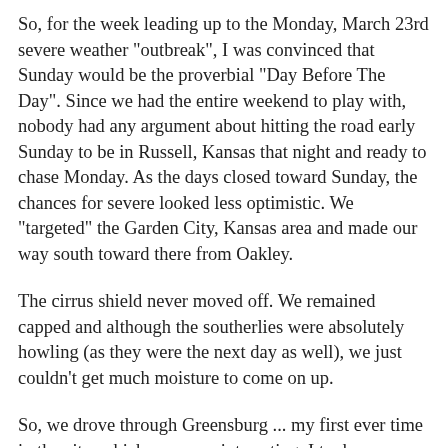So, for the week leading up to the Monday, March 23rd severe weather "outbreak", I was convinced that Sunday would be the proverbial "Day Before The Day". Since we had the entire weekend to play with, nobody had any argument about hitting the road early Sunday to be in Russell, Kansas that night and ready to chase Monday. As the days closed toward Sunday, the chances for severe looked less optimistic. We "targeted" the Garden City, Kansas area and made our way south toward there from Oakley.
The cirrus shield never moved off. We remained capped and although the southerlies were absolutely howling (as they were the next day as well), we just couldn't get much moisture to come on up.
So, we drove through Greensburg ... my first ever time in the city, which was very interesting. I took some video but it's painfully boring, so I'm not going to post it. There, we met John & Michael O'Keeffe and had sort of come to the conclusion that nothing was going to happen. We got a bite to eat at the Playa Azul Restaurant in Pratt, Kansas (not really a fan) and then hung out for the sunset before heading